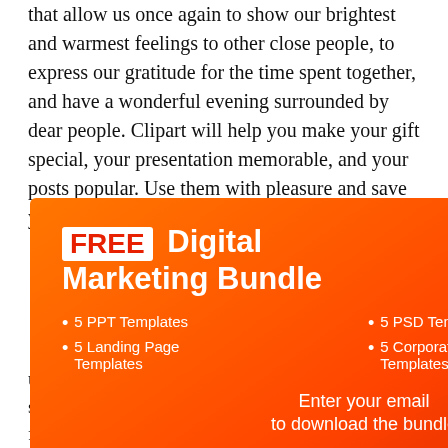that allow us once again to show our brightest and warmest feelings to other close people, to express our gratitude for the time spent together, and have a wonderful evening surrounded by dear people. Clipart will help you make your gift special, your presentation memorable, and your posts popular. Use them with pleasure and save your time for more interesting things.
[Figure (infographic): Popup advertisement for a FREE Digital Marketing Bundle with orange-to-red gradient background. Contains title 'FREE Digital Marketing Bundle', bullet list with 5 PPT Templates, 5 Landing Page Templates, 5 PSD Templates, 5 Corporate Identity Templates, email input field, and Get Bundle button. Close X button in top right corner.]
s Lights signs FAQ
s clipart? u will receive several formats for your clipart. These can be PSD files, PNG, or regular JPEG. Following a more